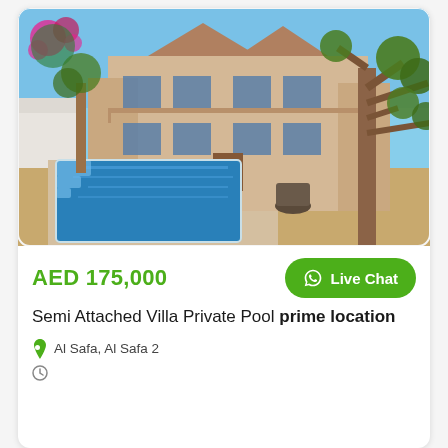[Figure (photo): Exterior photo of a two-storey semi-attached villa with a private swimming pool in the foreground, sandy yard, and trees on the right side. Blue sky backdrop.]
AED 175,000
Live Chat
Semi Attached Villa Private Pool prime location
Al Safa, Al Safa 2